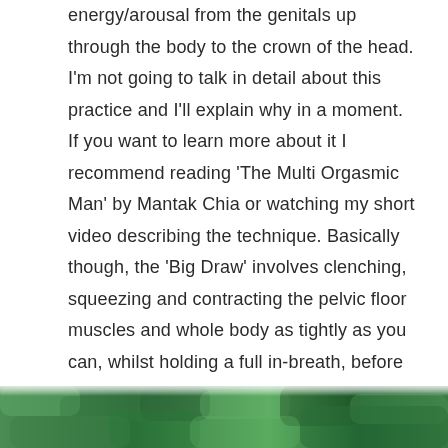energy/arousal from the genitals up through the body to the crown of the head. I'm not going to talk in detail about this practice and I'll explain why in a moment. If you want to learn more about it I recommend reading 'The Multi Orgasmic Man' by Mantak Chia or watching my short video describing the technique. Basically though, the 'Big Draw' involves clenching, squeezing and contracting the pelvic floor muscles and whole body as tightly as you can, whilst holding a full in-breath, before exhaling and dropping into a state of relaxation.
[Figure (photo): Green leafy/mossy textured image at the bottom of the page, partially visible]